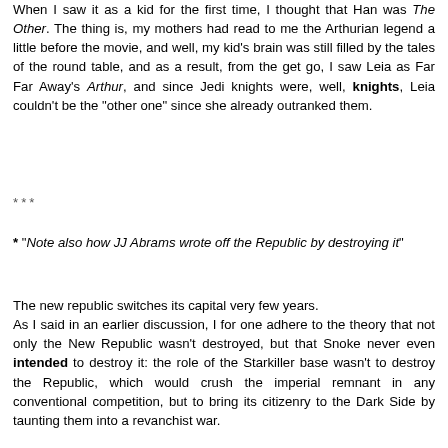When I saw it as a kid for the first time, I thought that Han was The Other. The thing is, my mothers had read to me the Arthurian legend a little before the movie, and well, my kid's brain was still filled by the tales of the round table, and as a result, from the get go, I saw Leia as Far Far Away's Arthur, and since Jedi knights were, well, knights, Leia couldn't be the "other one" since she already outranked them.
***
* "Note also how JJ Abrams wrote off the Republic by destroying it"
The new republic switches its capital very few years.
As I said in an earlier discussion, I for one adhere to the theory that not only the New Republic wasn't destroyed, but that Snoke never even intended to destroy it: the role of the Starkiller base wasn't to destroy the Republic, which would crush the imperial remnant in any conventional competition, but to bring its citizenry to the Dark Side by taunting them into a revanchist war.